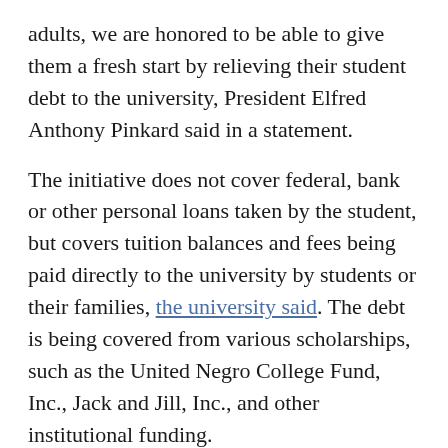adults, we are honored to be able to give them a fresh start by relieving their student debt to the university, President Elfred Anthony Pinkard said in a statement.
The initiative does not cover federal, bank or other personal loans taken by the student, but covers tuition balances and fees being paid directly to the university by students or their families, the university said. The debt is being covered from various scholarships, such as the United Negro College Fund, Inc., Jack and Jill, Inc., and other institutional funding.
Graduating students were seen jumping from their seats, clapping and cheering, as Pinkard made the announcement.
"I couldn't believe it when he said it. It's a blessing,"